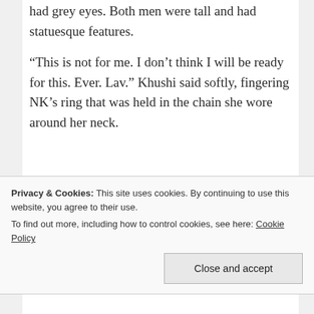had grey eyes. Both men were tall and had statuesque features.
“This is not for me. I don’t think I will be ready for this. Ever. Lav.” Khushi said softly, fingering NK’s ring that was held in the chain she wore around her neck.
Privacy & Cookies: This site uses cookies. By continuing to use this website, you agree to their use.
To find out more, including how to control cookies, see here: Cookie Policy